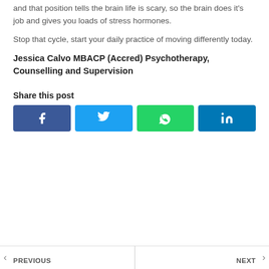and that position tells the brain life is scary, so the brain does it's job and gives you loads of stress hormones.
Stop that cycle, start your daily practice of moving differently today.
Jessica Calvo MBACP (Accred) Psychotherapy, Counselling and Supervision
Share this post
[Figure (infographic): Four social media share buttons: Facebook (dark blue), Twitter (light blue), WhatsApp (green), LinkedIn (dark blue)]
PREVIOUS | NEXT